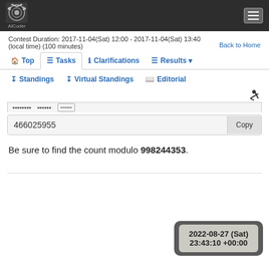AtCoder
Contest Duration: 2017-11-04(Sat) 12:00 - 2017-11-04(Sat) 13:40 (local time) (100 minutes)
Back to Home
Top | Tasks | Clarifications | Results | Standings | Virtual Standings | Editorial
466025955
Be sure to find the count modulo 998244353.
2022-08-27 (Sat) 23:43:10 +00:00